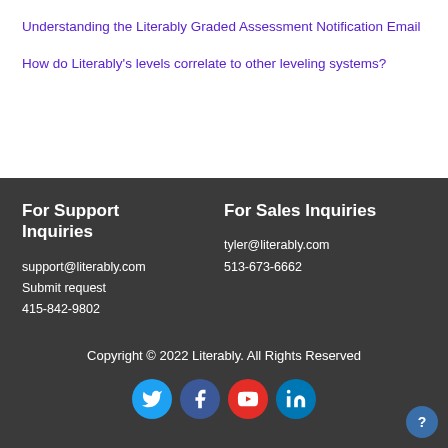Understanding the Literably Graded Assessment Notification Email
How do Literably's levels correlate to other leveling systems?
For Support Inquiries
support@literably.com
Submit request
415-842-9802
For Sales Inquiries
tyler@literably.com
513-673-6662
Copyright © 2022 Literably. All Rights Reserved